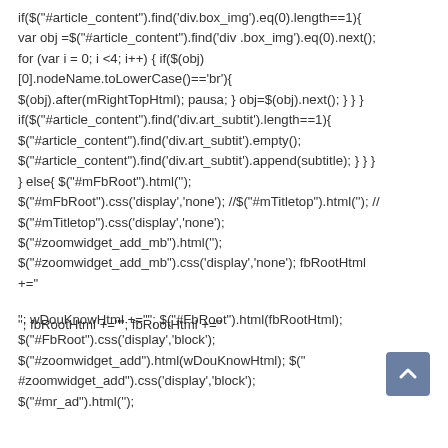if($("#article_content").find('div.box_img').eq(0).length==1){ var obj =$("#article_content").find('div .box_img').eq(0).next(); for (var i = 0; i <4; i++) { if($(obj) [0].nodeName.toLowerCase()=='br'){ $(obj).after(mRightTopHtml); pausa; } obj=$(obj).next(); } } } if($("#article_content").find('div.art_subtit').length==1){ $("#article_content").find('div.art_subtit').empty(); $("#article_content").find('div.art_subtit').append(subtitle); } } } } else{ $("#mFbRoot").html(''); $("#mFbRoot").css('display','none'); //$("#mTitletop").html(''); // $("#mTitletop").css('display','none'); $("#zoomwidget_add_mb").html(''); $("#zoomwidget_add_mb").css('display','none'); fbRootHtml +="

"; fbRootHtml +=""; fbRootHtml +="

"; wDouKnowHtml +=""; $("#FbRoot").html(fbRootHtml); $("#FbRoot").css('display','block'); $("#zoomwidget_add").html(wDouKnowHtml); $("#zoomwidget_add").css('display','block'); $("#mr_ad").html('');
[Figure (other): Scroll-to-top button: a blue-grey square with an upward-pointing chevron arrow]